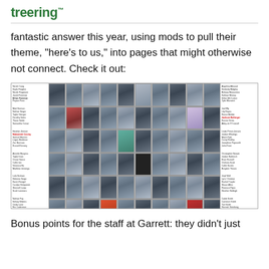treering
fantastic answer this year, using mods to pull their theme, “here’s to us,” into pages that might otherwise not connect. Check it out:
[Figure (photo): Yearbook spread showing rows of student portrait photos arranged in a grid with student names listed in columns on the left and right sides of each page. Below the portrait grid is a strip showing full-body photos of students standing.]
Bonus points for the staff at Garrett: they didn’t just